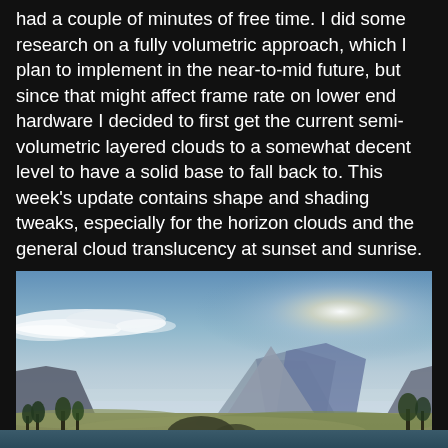had a couple of minutes of free time. I did some research on a fully volumetric approach, which I plan to implement in the near-to-mid future, but since that might affect frame rate on lower end hardware I decided to first get the current semi-volumetric layered clouds to a somewhat decent level to have a solid base to fall back to. This week's update contains shape and shading tweaks, especially for the horizon clouds and the general cloud translucency at sunset and sunrise.
[Figure (screenshot): A video game screenshot showing a landscape scene with mountains in the background, green/brown terrain with trees and scattered rocks in the foreground, and a blue sky with white clouds. Bright sunlight glare is visible on the right side of the sky. The scene appears to be from a military/open-world game.]